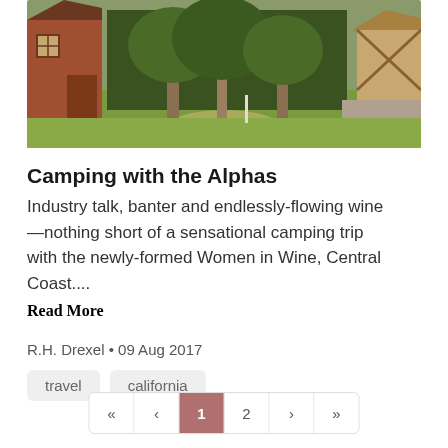[Figure (photo): Outdoor photo of a rural campground scene with a wooden barn-style building on the left, large trees in the background, a green grass lawn in the center, and another wooden structure with X-braced railings on the right.]
Camping with the Alphas
Industry talk, banter and endlessly-flowing wine—nothing short of a sensational camping trip with the newly-formed Women in Wine, Central Coast....
Read More
R.H. Drexel • 09 Aug 2017
travel
california